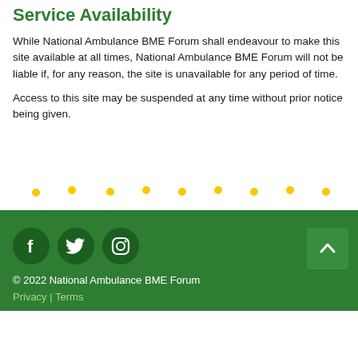Service Availability
While National Ambulance BME Forum shall endeavour to make this site available at all times, National Ambulance BME Forum will not be liable if, for any reason, the site is unavailable for any period of time.
Access to this site may be suspended at any time without prior notice being given.
[Figure (illustration): Decorative banner with colorful stick figure icons in green, yellow, and teal arranged in a repeating pattern across a white background.]
© 2022 National Ambulance BME Forum
Privacy | Terms